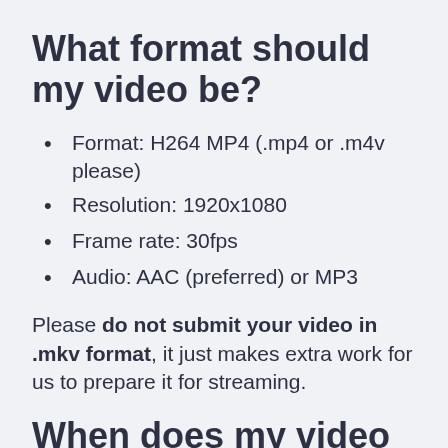What format should my video be?
Format: H264 MP4 (.mp4 or .m4v please)
Resolution: 1920x1080
Frame rate: 30fps
Audio: AAC (preferred) or MP3
Please do not submit your video in .mkv format, it just makes extra work for us to prepare it for streaming.
When does my video have to be delivered